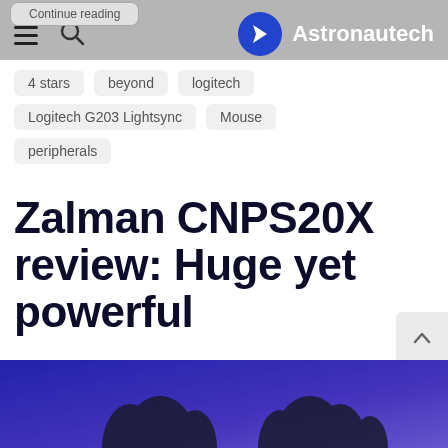Astronautech
4 stars
beyond
logitech
Logitech G203 Lightsync
Mouse
peripherals
Zalman CNPS20X review: Huge yet powerful
[Figure (photo): Photo of Zalman CNPS20X CPU cooler against a blue/purple background]